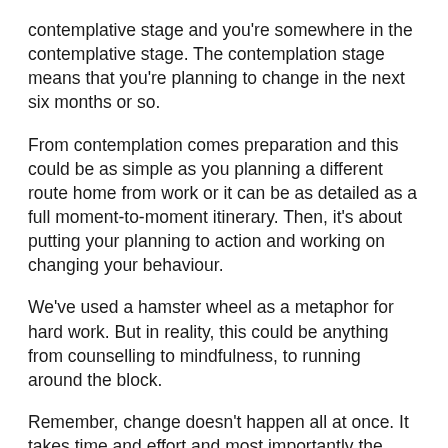contemplative stage and you're somewhere in the contemplative stage. The contemplation stage means that you're planning to change in the next six months or so.
From contemplation comes preparation and this could be as simple as you planning a different route home from work or it can be as detailed as a full moment-to-moment itinerary. Then, it's about putting your planning to action and working on changing your behaviour.
We've used a hamster wheel as a metaphor for hard work. But in reality, this could be anything from counselling to mindfulness, to running around the block.
Remember, change doesn't happen all at once. It takes time and effort and most importantly the determination to change. But even small steps can lead to big change.